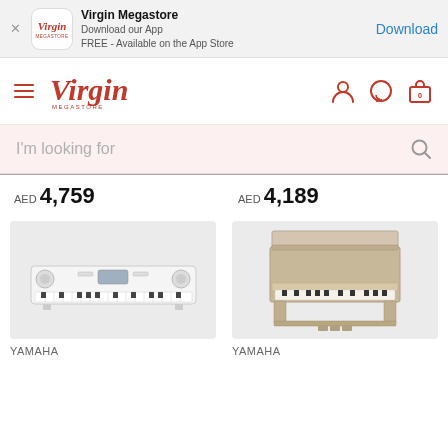Virgin Megastore — Download our App — FREE - Available on the App Store — Download
[Figure (logo): Virgin Megastore navigation bar with hamburger menu, Virgin Megastore logo, user icon, chat icon, and bag icon]
I'm looking for
AED 4,759
AED 4,189
[Figure (photo): White Yamaha portable digital piano/keyboard on white background]
[Figure (photo): Beige/tan Yamaha upright digital piano with stand and three pedals]
YAMAHA
YAMAHA